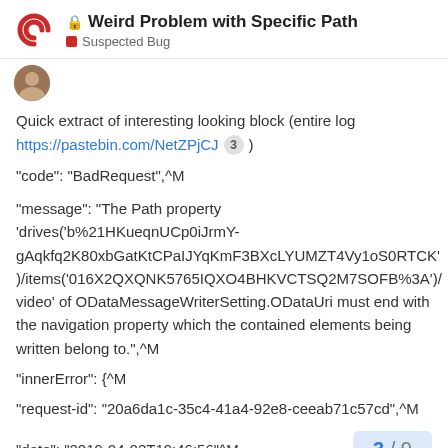Weird Problem with Specific Path — Suspected Bug
[Figure (logo): Discourse forum logo — two overlapping red C shapes]
Quick extract of interesting looking block (entire log https://pastebin.com/NetZPjCJ 3 )
"code": "BadRequest",^M
"message": "The Path property 'drives('b%21HKueqnUCp0iJrmY-gAqkfq2K80xbGatKtCPaIJYqKmF3BXcLYUMZT4Vy1oS0RTCK')/items('016X2QXQNK5765IQXO4BHKVCTSQ2M7SOFB%3A')/video' of ODataMessageWriterSetting.ODataUri must end with the navigation property which the contained elements being written belong to.",^M
"innerError": {^M
"request-id": "20a6da1c-35c4-41a4-92e8-ceeab71c57cd",^M
"date": "2019-04-02T19:46:56"^M
3 / 9